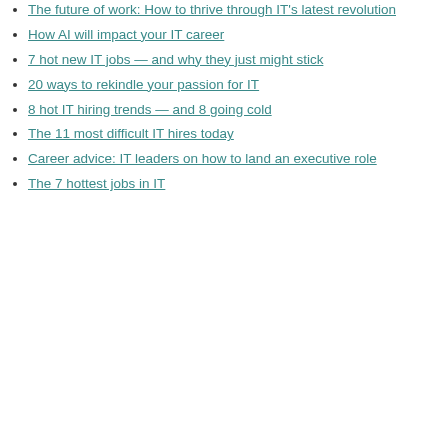The future of work: How to thrive through IT's latest revolution
How AI will impact your IT career
7 hot new IT jobs — and why they just might stick
20 ways to rekindle your passion for IT
8 hot IT hiring trends — and 8 going cold
The 11 most difficult IT hires today
Career advice: IT leaders on how to land an executive role
The 7 hottest jobs in IT